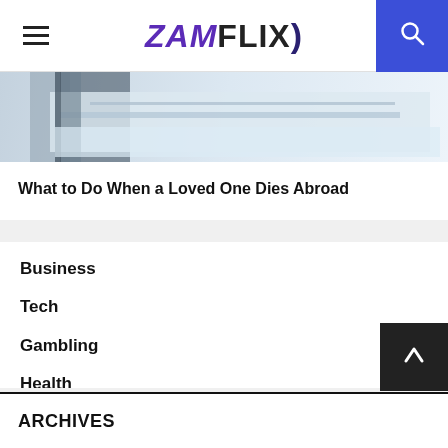ZAM FLIX
[Figure (photo): Partial view of a medical or bedroom scene with light colors]
What to Do When a Loved One Dies Abroad
Business
Tech
Gambling
Health
News
Finance
ARCHIVES